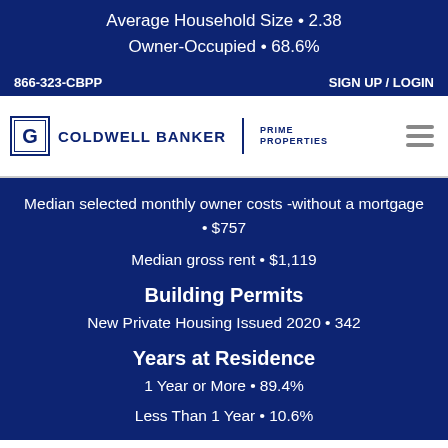Average Household Size • 2.38
Owner-Occupied • 68.6%
866-323-CBPP    SIGN UP / LOGIN
[Figure (logo): Coldwell Banker Prime Properties logo with hamburger menu icon]
Median selected monthly owner costs -without a mortgage • $757
Median gross rent • $1,119
Building Permits
New Private Housing Issued 2020 • 342
Years at Residence
1 Year or More • 89.4%
Less Than 1 Year • 10.6%